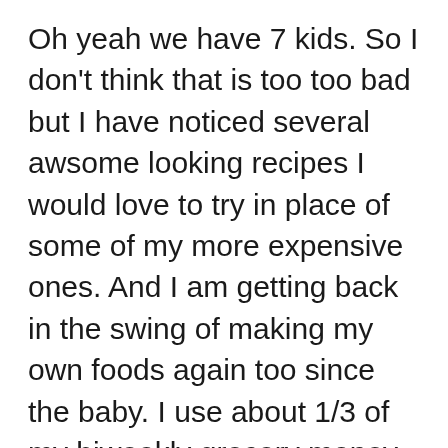Oh yeah we have 7 kids. So I don't think that is too too bad but I have noticed several awsome looking recipes I would love to try in place of some of my more expensive ones. And I am getting back in the swing of making my own foods again too since the baby. I use about 1/3 of my biweekly grocery money for stocking up.
This allows me to have some months where I barely spend anything on food. Great site again !!!! Michelle (mom to Kriztina 20, Chriztopher 18, Lyndzie 15, Jacob 6, Joshua 6, Matthew 3, Jeremiah 8